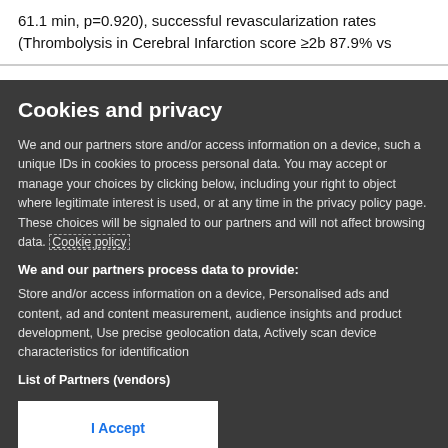61.1 min, p=0.920), successful revascularization rates (Thrombolysis in Cerebral Infarction score ≥2b 87.9% vs
Cookies and privacy
We and our partners store and/or access information on a device, such as unique IDs in cookies to process personal data. You may accept or manage your choices by clicking below, including your right to object where legitimate interest is used, or at any time in the privacy policy page. These choices will be signaled to our partners and will not affect browsing data. Cookie policy
We and our partners process data to provide:
Store and/or access information on a device, Personalised ads and content, ad and content measurement, audience insights and product development, Use precise geolocation data, Actively scan device characteristics for identification
List of Partners (vendors)
I Accept